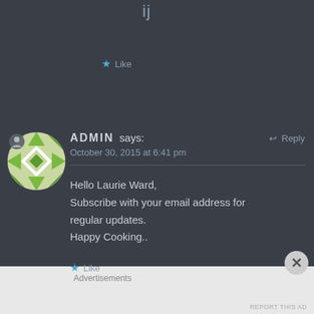ij
★ Like
ADMIN says:
October 30, 2015 at 6:41 pm
Reply
Hello Laurie Ward,
Subscribe with your email address for regular updates.
Happy Cooking..
★ Like
Advertisements